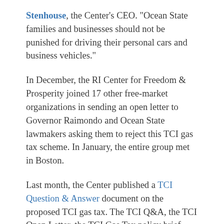Stenhouse, the Center's CEO. "Ocean State families and businesses should not be punished for driving their personal cars and business vehicles."
In December, the RI Center for Freedom & Prosperity joined 17 other free-market organizations in sending an open letter to Governor Raimondo and Ocean State lawmakers asking them to reject this TCI gas tax scheme. In January, the entire group met in Boston.
Last month, the Center published a TCI Question & Answer document on the proposed TCI gas tax. The TCI Q&A, the TCI Open Letter, the TCI Gas Tax policy brief, and other related information can be found at RIFreedom.org/NoTCITax.